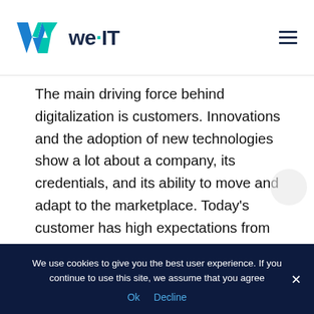[Figure (logo): we·IT company logo with teal/blue W mark and dark navy text]
The main driving force behind digitalization is customers. Innovations and the adoption of new technologies show a lot about a company, its credentials, and its ability to move and adapt to the marketplace. Today's customer has high expectations from every partnership and cooperation they step into. By choosing to trust companies that have undertaken their digitalization journey, these customers will expect to move forward together with the help of technology and what that resource has to offer to all parties involved. For in
We use cookies to give you the best user experience. If you continue to use this site, we assume that you agree
Ok   Decline